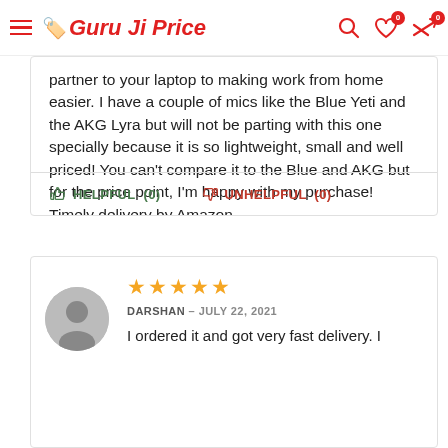Guru Ji Price
partner to your laptop to making work from home easier. I have a couple of mics like the Blue Yeti and the AKG Lyra but will not be parting with this one specially because it is so lightweight, small and well priced! You can't compare it to the Blue and AKG but for the price point, I'm happy with my purchase! Timely delivery by Amazon.
HELPFUL (0)   UNHELPFUL (0)
★★★★★
DARSHAN – JULY 22, 2021
I ordered it and got very fast delivery. I